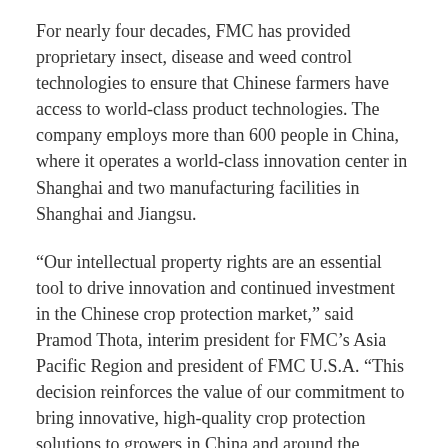For nearly four decades, FMC has provided proprietary insect, disease and weed control technologies to ensure that Chinese farmers have access to world-class product technologies. The company employs more than 600 people in China, where it operates a world-class innovation center in Shanghai and two manufacturing facilities in Shanghai and Jiangsu.
“Our intellectual property rights are an essential tool to drive innovation and continued investment in the Chinese crop protection market,” said Pramod Thota, interim president for FMC’s Asia Pacific Region and president of FMC U.S.A. “This decision reinforces the value of our commitment to bring innovative, high-quality crop protection solutions to growers in China and around the world.”